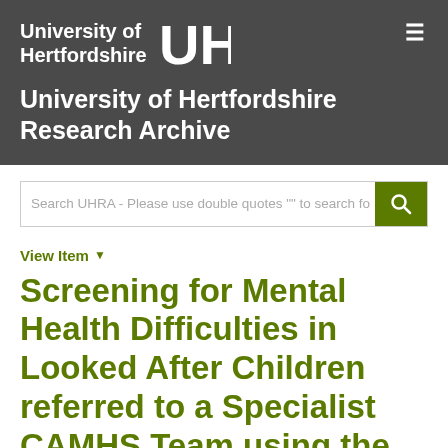University of Hertfordshire UH
University of Hertfordshire Research Archive
Search UHRA - Please use double quotes "" to search fo
View Item
Screening for Mental Health Difficulties in Looked After Children referred to a Specialist CAMHS Team using the Strengths and...